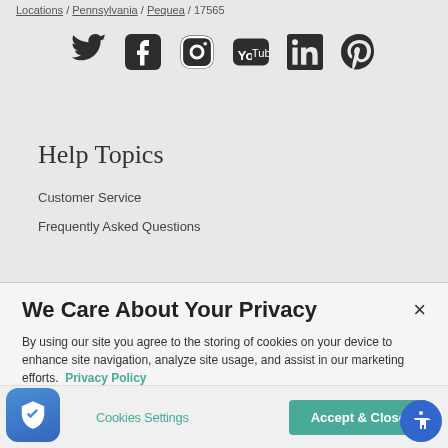Locations / Pennsylvania / Pequea / 17565
[Figure (illustration): Row of social media icons: Twitter, Facebook, Instagram, YouTube, LinkedIn, Pinterest]
Help Topics
Customer Service
Frequently Asked Questions
We Care About Your Privacy
By using our site you agree to the storing of cookies on your device to enhance site navigation, analyze site usage, and assist in our marketing efforts.  Privacy Policy
Cookies Settings
Accept & Close